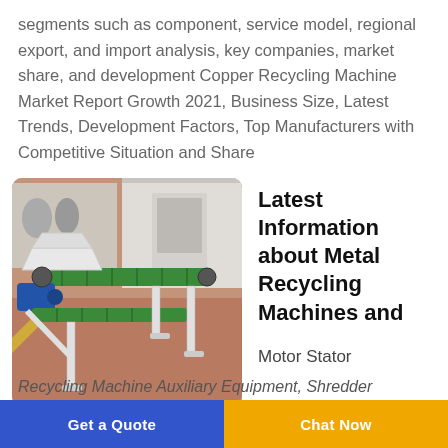segments such as component, service model, regional export, and import analysis, key companies, market share, and development Copper Recycling Machine Market Report Growth 2021, Business Size, Latest Trends, Development Factors, Top Manufacturers with Competitive Situation and Share
[Figure (photo): Photo of a metal recycling / conveyor machine with green belt, white frame, blue motor, in an industrial workshop setting with reddish floor.]
Latest Information about Metal Recycling Machines and
Motor Stator
Recycling Machine Auxiliary Equipment, Shredder
Get a Quote
Chat Now